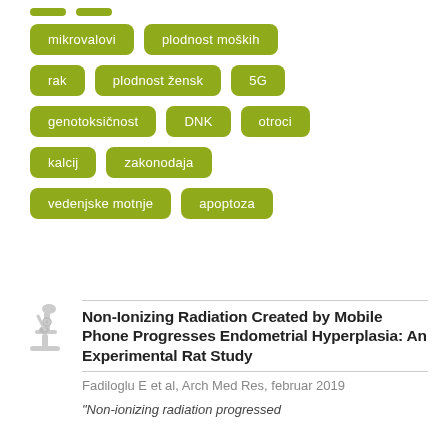mikrovalovi
plodnost moških
rak
plodnost žensk
5G
genotoksičnost
DNK
otroci
kalcij
zakonodaja
vedenjske motnje
apoptoza
Non-Ionizing Radiation Created by Mobile Phone Progresses Endometrial Hyperplasia: An Experimental Rat Study
Fadiloglu E et al, Arch Med Res, februar 2019
"Non-ionizing radiation progressed